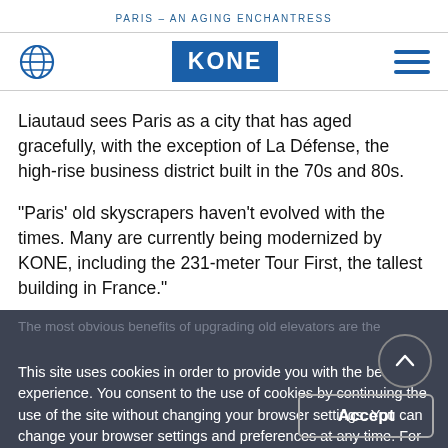PARIS – AN AGING ENCHANTRESS
[Figure (logo): KONE corporate navigation bar with globe icon, KONE blue logo, and hamburger menu icon]
Liautaud sees Paris as a city that has aged gracefully, with the exception of La Défense, the high-rise business district built in the 70s and 80s.
“Paris’ old skyscrapers haven’t evolved with the times. Many are currently being modernized by KONE, including the 231-meter Tour First, the tallest building in France.”
The most obvious benefits of upgrading old elevators are the
This site uses cookies in order to provide you with the best user experience. You consent to the use of cookies by continuing the use of the site without changing your browser settings. You can change your browser settings and preferences at any time. For further information on cookies, please see our privacy statement.
La Défense is home to one of KONE's largest elevator modernization projects. Tour Areva, where 53 elevators are being overhauled and fitted with new equipment like destination control systems.